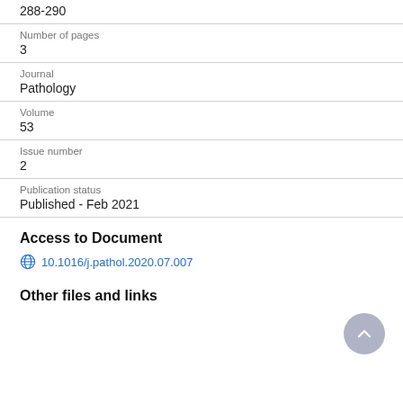288-290
Number of pages
3
Journal
Pathology
Volume
53
Issue number
2
Publication status
Published - Feb 2021
Access to Document
10.1016/j.pathol.2020.07.007
Other files and links